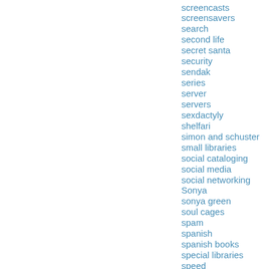screencasts
screensavers
search
second life
secret santa
security
sendak
series
server
servers
sexdactyly
shelfari
simon and schuster
small libraries
social cataloging
social media
social networking
Sonya
sonya green
soul cages
spam
spanish
spanish books
special libraries
speed
St Martin's
state of the thing
statistics
stickers
storytelling
swap
swap site